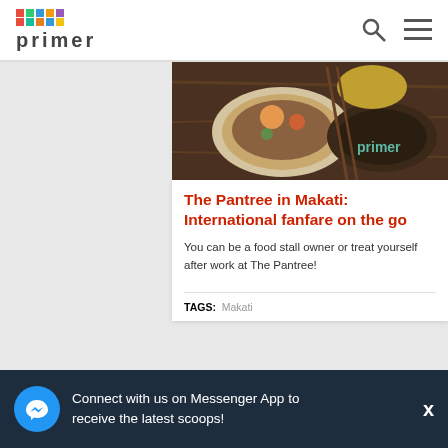primer
[Figure (photo): Food photo showing a bowl of noodles/rice with shrimp and vegetables on a wooden table, with 'primer' watermark]
The Pantree in Makati: International fanfare on the go
You can be a food stall owner or treat yourself after work at The Pantree!
TAGS: Makati
[Figure (photo): Dark bowl on wooden surface, partially visible]
Connect with us on Messenger App to receive the latest scoops!